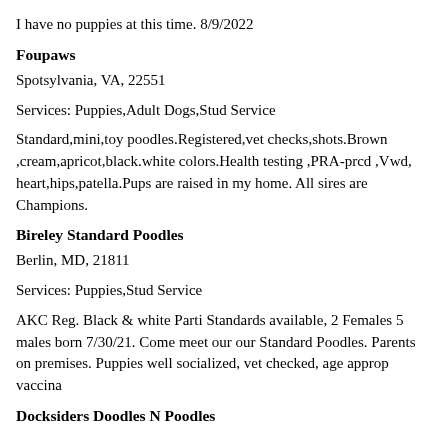I have no puppies at this time. 8/9/2022
Foupaws
Spotsylvania, VA, 22551
Services: Puppies,Adult Dogs,Stud Service
Standard,mini,toy poodles.Registered,vet checks,shots.Brown ,cream,apricot,black.white colors.Health testing ,PRA-prcd ,Vwd, heart,hips,patella.Pups are raised in my home. All sires are Champions.
Bireley Standard Poodles
Berlin, MD, 21811
Services: Puppies,Stud Service
AKC Reg. Black & white Parti Standards available, 2 Females 5 males born 7/30/21. Come meet our our Standard Poodles. Parents on premises. Puppies well socialized, vet checked, age approp vaccina
Docksiders Doodles N Poodles